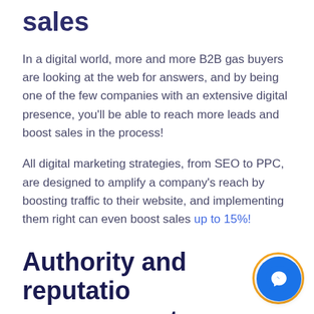sales
In a digital world, more and more B2B gas buyers are looking at the web for answers, and by being one of the few companies with an extensive digital presence, you'll be able to reach more leads and boost sales in the process!
All digital marketing strategies, from SEO to PPC, are designed to amplify a company's reach by boosting traffic to their website, and implementing them right can even boost sales up to 15%!
Authority and reputation management